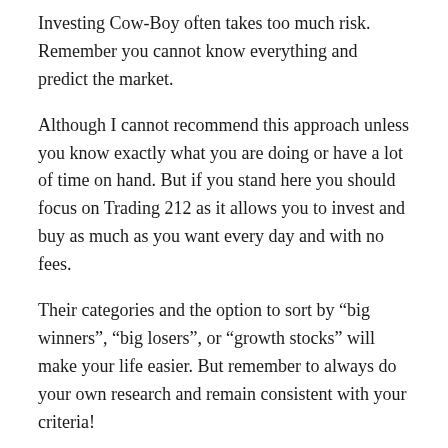Investing Cow-Boy often takes too much risk. Remember you cannot know everything and predict the market.
Although I cannot recommend this approach unless you know exactly what you are doing or have a lot of time on hand. But if you stand here you should focus on Trading 212 as it allows you to invest and buy as much as you want every day and with no fees.
Their categories and the option to sort by “big winners”, “big losers”, or “growth stocks” will make your life easier. But remember to always do your own research and remain consistent with your criteria!